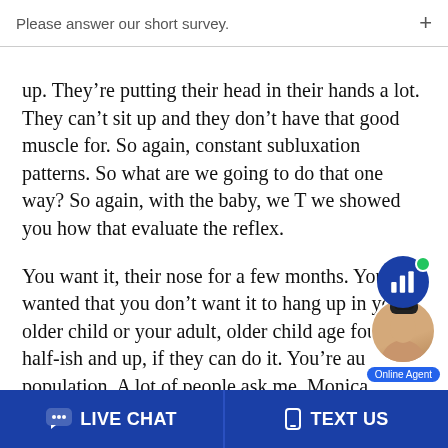Please answer our short survey.
up. They’re putting their head in their hands a lot. They can’t sit up and they don’t have that good muscle for. So again, constant subluxation patterns. So what are we going to do that one way? So again, with the baby, we T we showed you how that evaluate the reflex.
You want it, their nose for a few months. You wanted that you don’t want it to hang up in your older child or your adult, older child age four and half-ish and up, if they can do it. You’re autistic population. A lot of people ask me, Monica, how do these reflexes on your auto, on the autistic population?
[Figure (screenshot): Online Agent widget with bar chart icon bubble and photo of agent, green dot indicating online status, and 'Online Agent' label]
LIVE CHAT   TEXT US